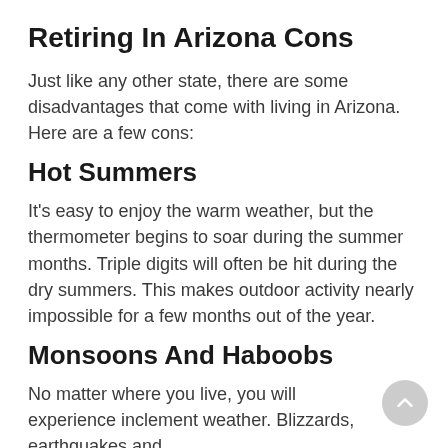Retiring In Arizona Cons
Just like any other state, there are some disadvantages that come with living in Arizona. Here are a few cons:
Hot Summers
It's easy to enjoy the warm weather, but the thermometer begins to soar during the summer months. Triple digits will often be hit during the dry summers. This makes outdoor activity nearly impossible for a few months out of the year.
Monsoons And Haboobs
No matter where you live, you will experience inclement weather. Blizzards, earthquakes and